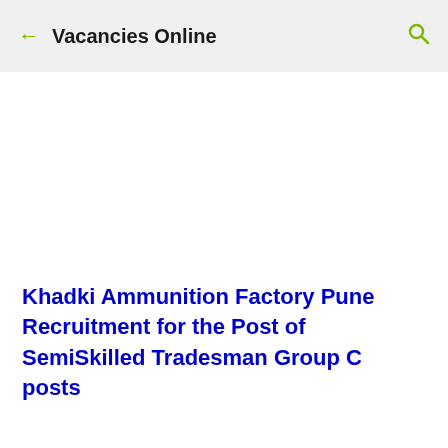← Vacancies Online 🔍
Khadki Ammunition Factory Pune Recruitment for the Post of SemiSkilled Tradesman Group C posts
GOVERNMENT OF INDIA, MINISTRY OF DEFENCE,